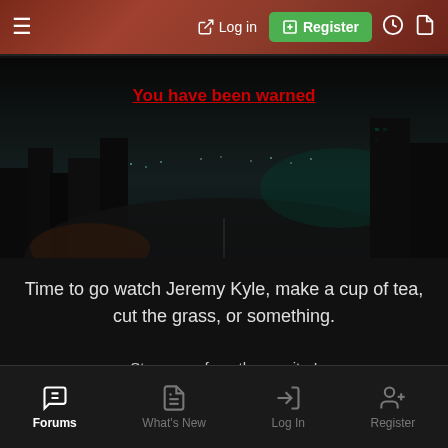≡  → Log in  ⊞ Register
You have been warned
[Figure (screenshot): Dark city night scene background image]
Time to go watch Jeremy Kyle, make a cup of tea, cut the grass, or something.
Step away from the monitor!
Forums  What's New  Log In  Register